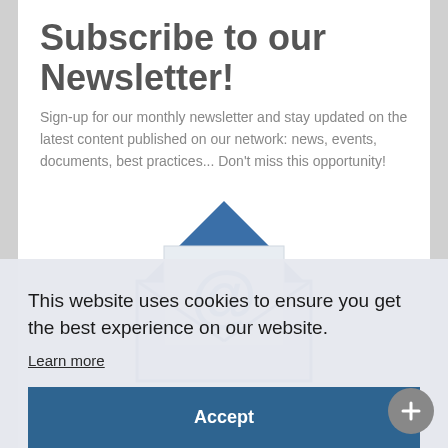Subscribe to our Newsletter!
Sign-up for our monthly newsletter and stay updated on the latest content published on our network: news, events, documents, best practices... Don't miss this opportunity!
[Figure (illustration): Blue envelope illustration with an @ symbol on a letter inside the open envelope]
This website uses cookies to ensure you get the best experience on our website.
Learn more
Accept